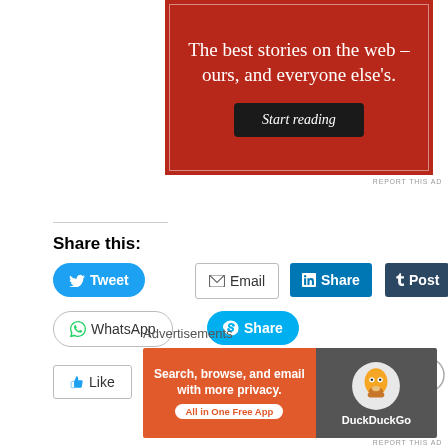[Figure (illustration): Red advertisement banner with white serif text reading 'The best stories on the web – ours, and everyone else's.' and a dark 'Start reading' button]
REPORT THIS AD
Share this:
[Figure (other): Social sharing buttons: Tweet (blue), Email (outlined), Share on LinkedIn (blue), Post on Tumblr (dark), Save on Pinterest (red), WhatsApp (outlined), Share on Skype (blue)]
[Figure (other): Like button]
[Figure (other): Close (X) button overlay]
Advertisements
[Figure (illustration): DuckDuckGo advertisement banner: 'Search, browse, and email with more privacy. All in One Free App' with DuckDuckGo duck logo on grey background]
REPORT THIS AD